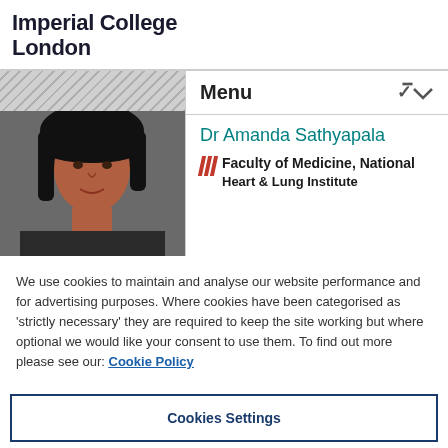Imperial College London
Menu
Dr Amanda Sathyapala
/// Faculty of Medicine, National Heart & Lung Institute
We use cookies to maintain and analyse our website performance and for advertising purposes. Where cookies have been categorised as 'strictly necessary' they are required to keep the site working but where optional we would like your consent to use them. To find out more please see our: Cookie Policy
Cookies Settings
Reject All